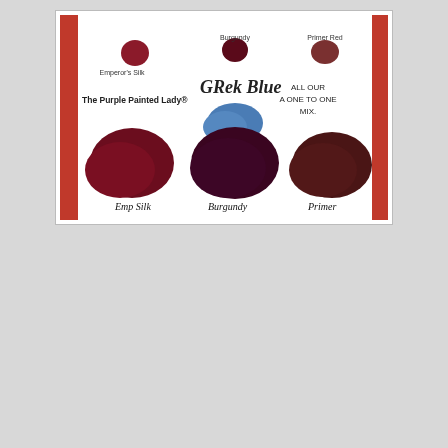[Figure (photo): Paint swatch comparison photo showing three Chalk Paint color swatches: Emperor's Silk (deep red), Burgundy (dark burgundy-red), and Primer Red (brownish red) shown as small dots at top. Below, a handwritten label 'Greek Blue' with a blue paint blob in the center. Text reads 'The Purple Painted Lady®' on left and 'ALL OUR A ONE TO ONE MIX.' on right. Bottom row shows three large paint swatches labeled 'Emp Silk' (deep crimson), 'Burgundy' (dark purple-burgundy), and 'Primer' (dark brownish red). The photo has a red border/frame on sides.]